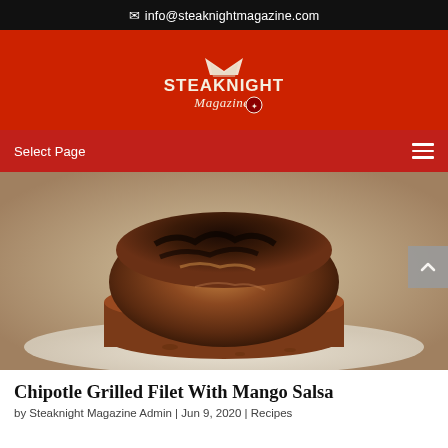info@steaknightmagazine.com
[Figure (logo): Steaknight Magazine logo in white text on red background]
Select Page
[Figure (photo): Close-up photo of a chipotle grilled filet steak on a white plate]
Chipotle Grilled Filet With Mango Salsa
by Steaknight Magazine Admin | Jun 9, 2020 | Recipes